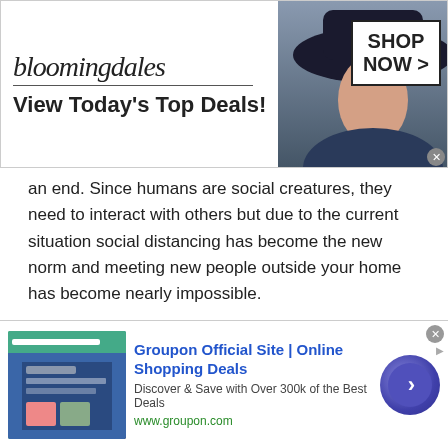[Figure (screenshot): Bloomingdale's advertisement banner: logo text 'bloomingdales', tagline 'View Today's Top Deals!', woman in hat image, and 'SHOP NOW >' call-to-action box]
an end. Since humans are social creatures, they need to interact with others but due to the current situation social distancing has become the new norm and meeting new people outside your home has become nearly impossible.
At Talkwithstranger, we allow people to use our platform and make new friends. Our private chat rooms allow you to meet outstanding individuals from all parts of the world which Ecuadorean Chat with Randoms much easier.
Share Knowledge
[Figure (screenshot): Groupon advertisement: thumbnail image, title 'Groupon Official Site | Online Shopping Deals', description 'Discover & Save with Over 300k of the Best Deals', URL 'www.groupon.com', purple arrow button on right]